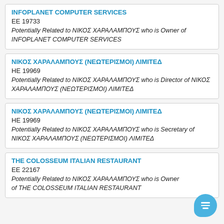INFOPLANET COMPUTER SERVICES
ΕΕ 19733
Potentially Related to ΝΙΚΟΣ ΧΑΡΑΛΑΜΠΟΥΣ who is Owner of INFOPLANET COMPUTER SERVICES
ΝΙΚΟΣ ΧΑΡΑΛΑΜΠΟΥΣ (ΝΕΩΤΕΡΙΣΜΟΙ) ΛΙΜΙΤΕΔ
HE 19969
Potentially Related to ΝΙΚΟΣ ΧΑΡΑΛΑΜΠΟΥΣ who is Director of ΝΙΚΟΣ ΧΑΡΑΛΑΜΠΟΥΣ (ΝΕΩΤΕΡΙΣΜΟΙ) ΛΙΜΙΤΕΔ
ΝΙΚΟΣ ΧΑΡΑΛΑΜΠΟΥΣ (ΝΕΩΤΕΡΙΣΜΟΙ) ΛΙΜΙΤΕΔ
HE 19969
Potentially Related to ΝΙΚΟΣ ΧΑΡΑΛΑΜΠΟΥΣ who is Secretary of ΝΙΚΟΣ ΧΑΡΑΛΑΜΠΟΥΣ (ΝΕΩΤΕΡΙΣΜΟΙ) ΛΙΜΙΤΕΔ
THE COLOSSEUM ITALIAN RESTAURANT
ΕΕ 22167
Potentially Related to ΝΙΚΟΣ ΧΑΡΑΛΑΜΠΟΥΣ who is Owner of THE COLOSSEUM ITALIAN RESTAURANT